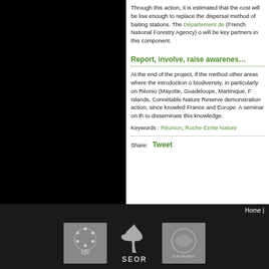Through this action, it is estimated that the cost will be low enough to replace the dispersal method of baiting stations. The Département de (French National Forestry Agency) o will be key partners in this component.
Report, involve, raise awareness
At the end of the project, if the method other areas where the introduction o biodiversity, in particularly on Réunio (Mayotte, Guadeloupe, Martinique, F Islands, Connétable Nature Reserve demonstration action, since knowled France and Europe. A seminar on th to disseminate this knowledge.
Keywords : Réunion, Roche-Ecrite Nature
Share:   Tweet
Home |